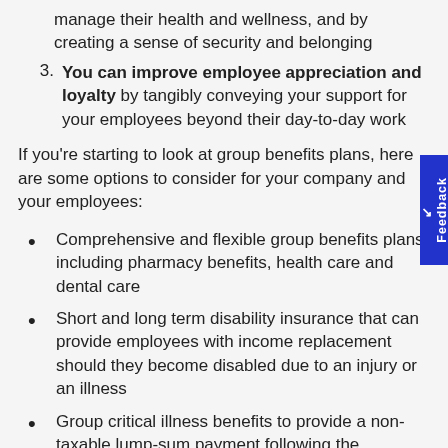manage their health and wellness, and by creating a sense of security and belonging
3. You can improve employee appreciation and loyalty by tangibly conveying your support for your employees beyond their day-to-day work
If you're starting to look at group benefits plans, here are some options to consider for your company and your employees:
Comprehensive and flexible group benefits plans, including pharmacy benefits, health care and dental care
Short and long term disability insurance that can provide employees with income replacement should they become disabled due to an injury or an illness
Group critical illness benefits to provide a non-taxable lump-sum payment following the diagnosis of a covered illness
Employee and family assistance programs to help